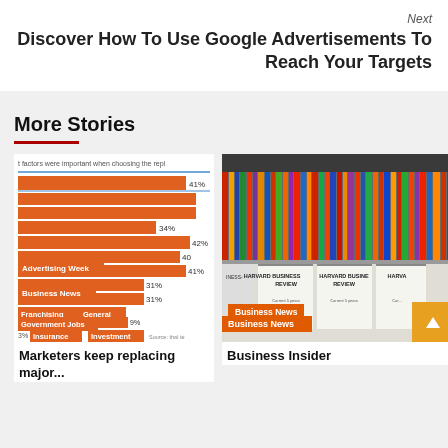Next
Discover How To Use Google Advertisements To Reach Your Targets
More Stories
[Figure (bar-chart): Horizontal bar chart showing factors important when choosing a replacement, with percentages: 41%, 34%, 42%, 40%, 41%, 31%, 31%, and smaller values. Tags: Advertising Week, Business News, Franchising, General, Government Jobs, Insurance, Investment]
Marketers keep replacing major...
[Figure (photo): Photo of Harvard Business Review magazines on library shelves]
Business Insider